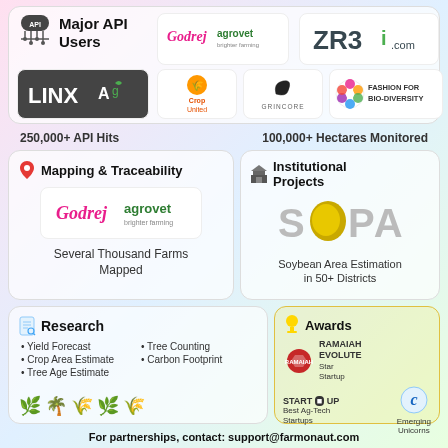[Figure (infographic): Major API Users card with logos: Godrej Agrovet, ZR3i.com, LINXAg, Crop United, Grincore, Fashion for Bio-Diversity. Stats: 250,000+ API Hits, 100,000+ Hectares Monitored]
[Figure (infographic): Mapping & Traceability card with Godrej Agrovet logo, text: Several Thousand Farms Mapped]
[Figure (infographic): Institutional Projects card with SOPA logo, text: Soybean Area Estimation in 50+ Districts]
[Figure (infographic): Research card with bullet list: Yield Forecast, Crop Area Estimate, Tree Age Estimate, Tree Counting, Carbon Footprint. Crop icons at bottom.]
[Figure (infographic): Awards card: Ramaiah Evolute Star Startup, StartUp Best Ag-Tech Startups, C Emerging Unicorns]
For partnerships, contact: support@farmonaut.com